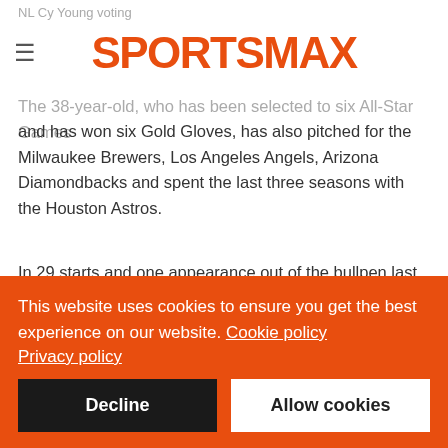NL Cy Young voting
[Figure (logo): SPORTSMAX logo in orange/red bold text]
The 38-year-old, who has been selected to six All-Star Games and has won six Gold Gloves, has also pitched for the Milwaukee Brewers, Los Angeles Angels, Arizona Diamondbacks and spent the last three seasons with the Houston Astros.
In 29 starts and one appearance out of the bullpen last season, the right-hander went 11-6 with a 4.16 ERA and 1.17 WHIP in a team-leading 171 innings.
The ERA and WHIP were both his highest since 2016, when he
This website uses cookies to ensure you get the best experience on our website. Cookie policy
Privacy policy
Decline
Allow cookies